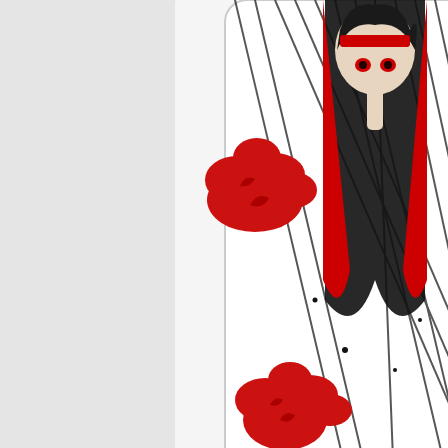[Figure (photo): Phone case with anime artwork - Itachi Blood Eyes Raven Akatsuki design on Samsung Galaxy Z Flip 3. White background with red cloud motifs, black streaks, red Japanese characters, and a figure in black and red.]
16.9 $
Itachi Blood Eyes Raven Akatsuki Samsung Galaxy Z Flip 3 case
[Figure (photo): Phone case with anime artwork visible at bottom of page - dark red background with white-haired character, shown on a smartphone.]